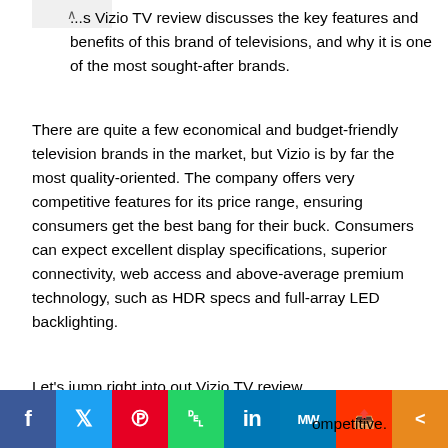...s Vizio TV review discusses the key features and benefits of this brand of televisions, and why it is one of the most sought-after brands.
There are quite a few economical and budget-friendly television brands in the market, but Vizio is by far the most quality-oriented. The company offers very competitive features for its price range, ensuring consumers get the best bang for their buck. Consumers can expect excellent display specifications, superior connectivity, web access and above-average premium technology, such as HDR specs and full-array LED backlighting.
Let's jump right into out Vizio TV review.
[Figure (other): Social media share bar with icons for Facebook, Twitter, Pinterest, WhatsApp, LinkedIn, MeWe, Mix, and Share]